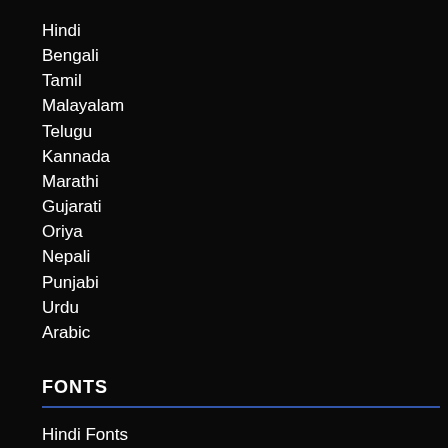Hindi
Bengali
Tamil
Malayalam
Telugu
Kannada
Marathi
Gujarati
Oriya
Nepali
Punjabi
Urdu
Arabic
FONTS
Hindi Fonts
Bengali Fonts
Tamil Fonts
Malayalam Fonts
Telugu Fonts